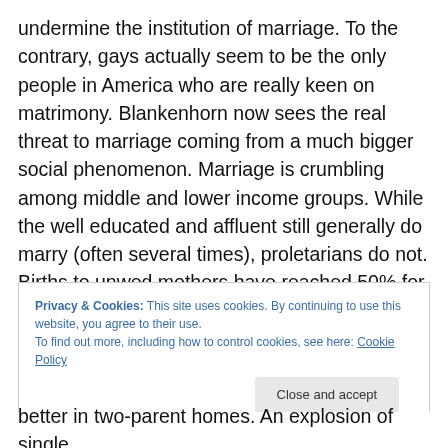undermine the institution of marriage. To the contrary, gays actually seem to be the only people in America who are really keen on matrimony. Blankenhorn now sees the real threat to marriage coming from a much bigger social phenomenon. Marriage is crumbling among middle and lower income groups. While the well educated and affluent still generally do marry (often several times), proletarians do not. Births to unwed mothers have reached 50% for under-30 whites. For blacks, it's over 70%.
Privacy & Cookies: This site uses cookies. By continuing to use this website, you agree to their use.
To find out more, including how to control cookies, see here: Cookie Policy
Close and accept
better in two-parent homes. An explosion of single